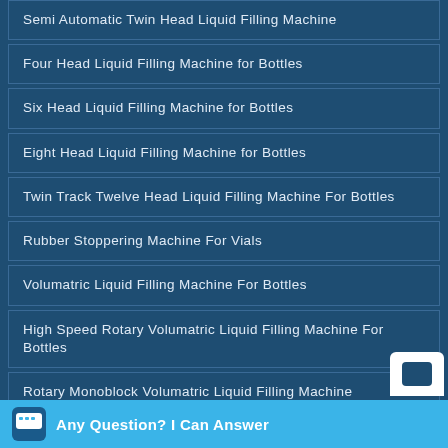Semi Automatic Twin Head Liquid Filling Machine
Four Head Liquid Filling Machine for Bottles
Six Head Liquid Filling Machine for Bottles
Eight Head Liquid Filling Machine for Bottles
Twin Track Twelve Head Liquid Filling Machine For Bottles
Rubber Stoppering Machine For Vials
Volumatric Liquid Filling Machine For Bottles
High Speed Rotary Volumatric Liquid Filling Machine For Bottles
Rotary Monoblock Volumatric Liquid Filling Machine
Any Question? I Can Answer